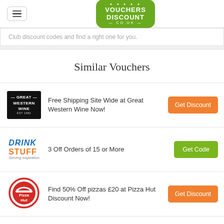[Figure (logo): Vouchers Discount co.uk green rounded rectangle logo]
Club discount codes and find a right one for you.
Similar Vouchers
[Figure (logo): Great Western Wine logo - white text on black background]
Free Shipping Site Wide at Great Western Wine Now!
[Figure (logo): DrinkStuff Serving inspiration logo]
3 Off Orders of 15 or More
[Figure (logo): Pizza Hut circular red logo]
Find 50% Off pizzas £20 at Pizza Hut Discount Now!
[Figure (logo): Ocado partial green logo]
Up to 10% Off on Invest - at Ocado Now!